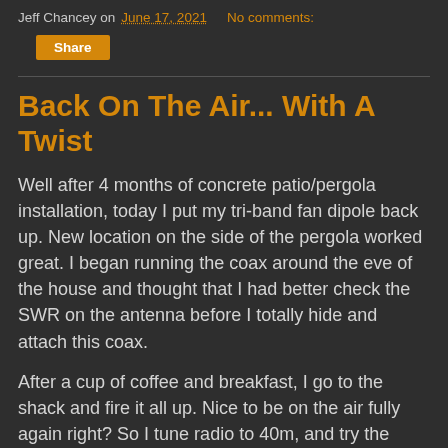Jeff Chancey on June 17, 2021   No comments:
Share
Back On The Air... With A Twist
Well after 4 months of concrete patio/pergola installation, today I put my tri-band fan dipole back up. New location on the side of the pergola worked great. I began running the coax around the eve of the house and thought that I had better check the SWR on the antenna before I totally hide and attach this coax.
After a cup of coffee and breakfast, I go to the shack and fire it all up. Nice to be on the air fully again right? So I tune radio to 40m, and try the antenna tuner.... rattle rattle kerchuunk over and over and over. I know a lot of you know that feeling. Finally the tuner gives up with SWR OFF the scale. Dang I thought, bad coax? Too close to the new outdoor Wifi outlet? So I tune radio over to 20m... first try was the same thing. rattle rattle kerchuunk over and over and over but this time it